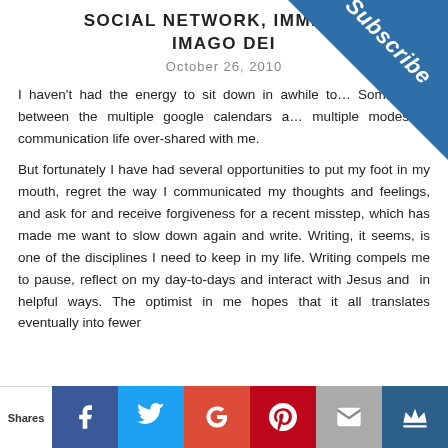SOCIAL NETWORK, IMMIGR... IMAGO DEI
October 26, 2010
I haven't had the energy to sit down in awhile to... Somewhere between the multiple google calendars a... multiple modes of communication life over-shared with me.
But fortunately I have had several opportunities to put my foot in my mouth, regret the way I communicated my thoughts and feelings, and ask for and receive forgiveness for a recent misstep, which has made me want to slow down again and write. Writing, it seems, is one of the disciplines I need to keep in my life. Writing compels me to pause, reflect on my day-to-days and interact with Jesus and  in helpful ways. The optimist in me hopes that it all translates eventually into fewer